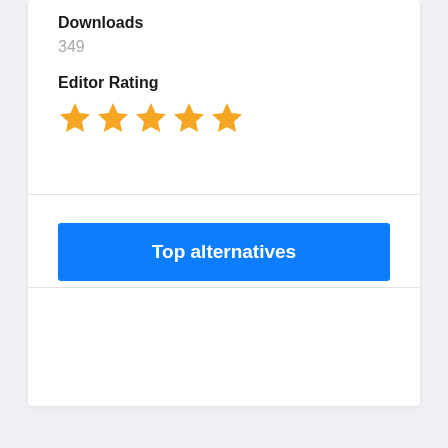Downloads
349
Editor Rating
[Figure (other): Five gold star rating icons]
Top alternatives